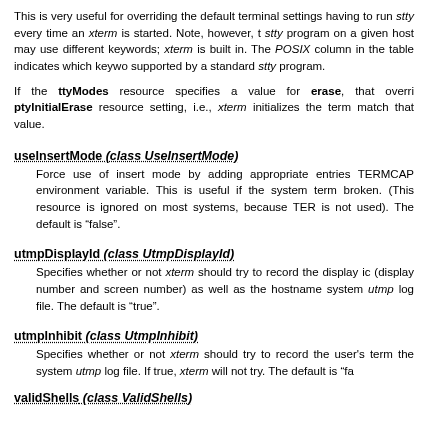This is very useful for overriding the default terminal settings having to run stty every time an xterm is started. Note, however, t stty program on a given host may use different keywords; xterm is built in. The POSIX column in the table indicates which keywo supported by a standard stty program.
If the ttyModes resource specifies a value for erase, that overri ptyInitialErase resource setting, i.e., xterm initializes the term match that value.
useInsertMode (class UseInsertMode)
Force use of insert mode by adding appropriate entries TERMCAP environment variable. This is useful if the system term broken. (This resource is ignored on most systems, because TER is not used). The default is “false”.
utmpDisplayId (class UtmpDisplayId)
Specifies whether or not xterm should try to record the display ic (display number and screen number) as well as the hostname system utmp log file. The default is “true”.
utmpInhibit (class UtmpInhibit)
Specifies whether or not xterm should try to record the user's tern the system utmp log file. If true, xterm will not try. The default is “fa
validShells (class ValidShells)